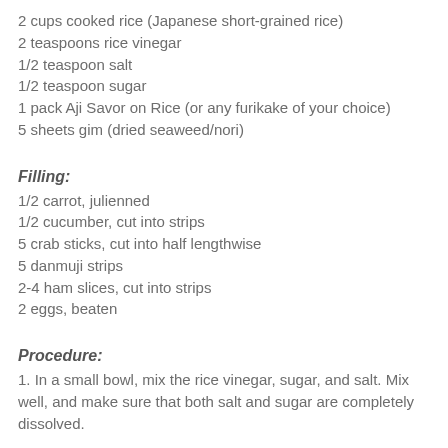2 cups cooked rice (Japanese short-grained rice)
2 teaspoons rice vinegar
1/2 teaspoon salt
1/2 teaspoon sugar
1 pack Aji Savor on Rice (or any furikake of your choice)
5 sheets gim (dried seaweed/nori)
Filling:
1/2 carrot, julienned
1/2 cucumber, cut into strips
5 crab sticks, cut into half lengthwise
5 danmuji strips
2-4 ham slices, cut into strips
2 eggs, beaten
Procedure:
1. In a small bowl, mix the rice vinegar, sugar, and salt. Mix well, and make sure that both salt and sugar are completely dissolved.
2. Pour the mixture over the rice and toss until the rice is well-coated.